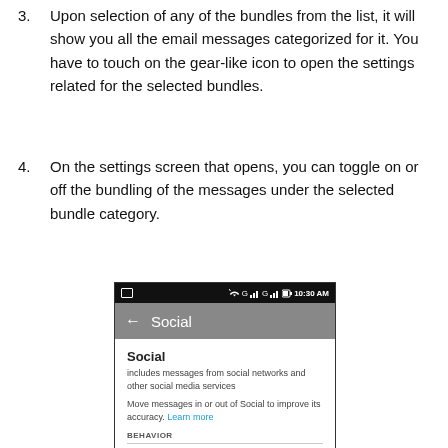3. Upon selection of any of the bundles from the list, it will show you all the email messages categorized for it. You have to touch on the gear-like icon to open the settings related for the selected bundles.
4. On the settings screen that opens, you can toggle on or off the bundling of the messages under the selected bundle category.
[Figure (screenshot): Android email app screenshot showing 'Social' bundle settings screen with status bar showing 10:30 AM, gray title bar with back arrow and 'Social' label, Social category description, 'Learn more' link, BEHAVIOR section with Bundle messages toggle]